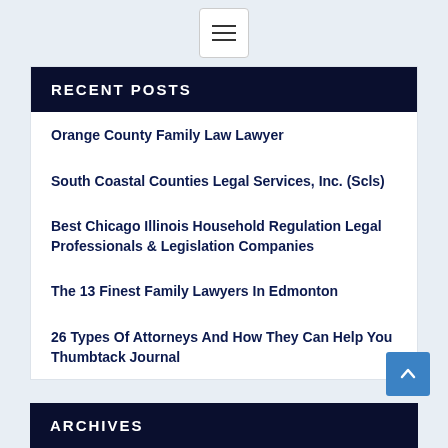[Figure (other): Hamburger menu button icon with three horizontal lines]
RECENT POSTS
Orange County Family Law Lawyer
South Coastal Counties Legal Services, Inc. (Scls)
Best Chicago Illinois Household Regulation Legal Professionals & Legislation Companies
The 13 Finest Family Lawyers In Edmonton
26 Types Of Attorneys And How They Can Help You Thumbtack Journal
ARCHIVES